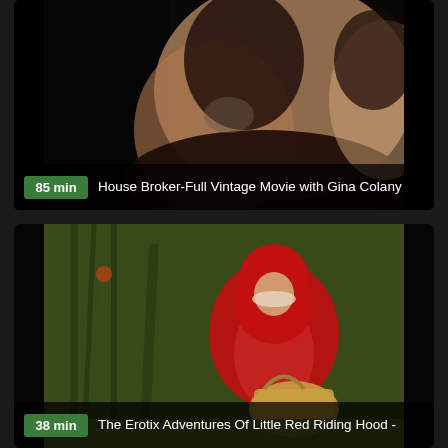[Figure (screenshot): Video thumbnail for 'House Broker-Full Vintage Movie with Gina Colany', dark scene, duration 85 min]
[Figure (screenshot): Video thumbnail for 'The Erotix Adventures Of Little Red Riding Hood -', outdoor forest scene with figure in red hooded costume carrying a basket, duration 38 min]